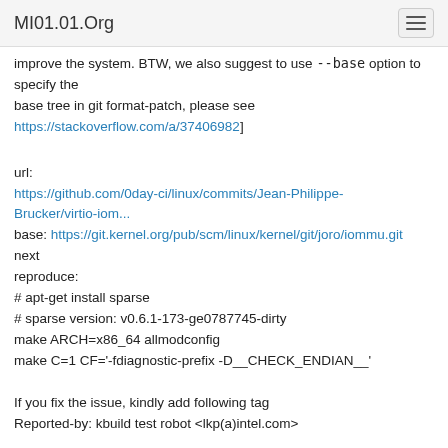MI01.01.Org
improve the system. BTW, we also suggest to use `--base` option to specify the base tree in git format-patch, please see https://stackoverflow.com/a/37406982]
url: https://github.com/0day-ci/linux/commits/Jean-Philippe-Brucker/virtio-iom...
base: https://git.kernel.org/pub/scm/linux/kernel/git/joro/iommu.git next
reproduce:
# apt-get install sparse
# sparse version: v0.6.1-173-ge0787745-dirty
make ARCH=x86_64 allmodconfig
make C=1 CF='-fdiagnostic-prefix -D__CHECK_ENDIAN__'
If you fix the issue, kindly add following tag
Reported-by: kbuild test robot <lkp(a)intel.com&gt;